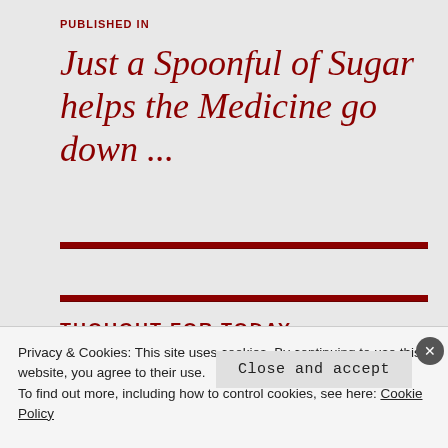PUBLISHED IN
Just a Spoonful of Sugar helps the Medicine go down ...
THOUGHT FOR TODAY . . .
~ . ~
You get older and you learn there is one sentence, just four
Privacy & Cookies: This site uses cookies. By continuing to use this website, you agree to their use.
To find out more, including how to control cookies, see here: Cookie Policy
Close and accept